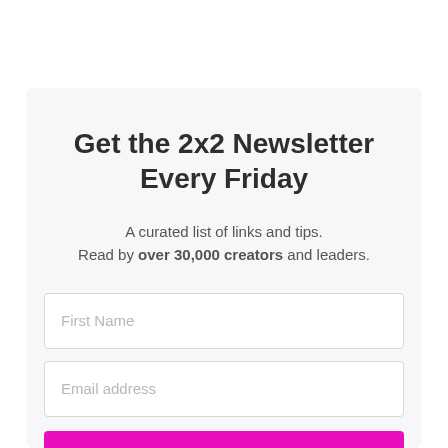Get the 2x2 Newsletter Every Friday
A curated list of links and tips. Read by over 30,000 creators and leaders.